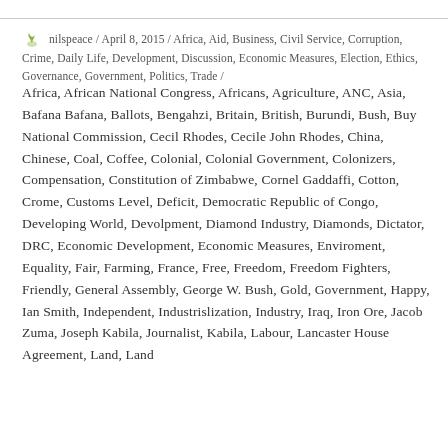nilspeace / April 8, 2015 / Africa, Aid, Business, Civil Service, Corruption, Crime, Daily Life, Development, Discussion, Economic Measures, Election, Ethics, Governance, Government, Politics, Trade / Africa, African National Congress, Africans, Agriculture, ANC, Asia, Bafana Bafana, Ballots, Bengahzi, Britain, British, Burundi, Bush, Buy National Commission, Cecil Rhodes, Cecile John Rhodes, China, Chinese, Coal, Coffee, Colonial, Colonial Government, Colonizers, Compensation, Constitution of Zimbabwe, Cornel Gaddaffi, Cotton, Crome, Customs Level, Deficit, Democratic Republic of Congo, Developing World, Devolpment, Diamond Industry, Diamonds, Dictator, DRC, Economic Development, Economic Measures, Enviroment, Equality, Fair, Farming, France, Free, Freedom, Freedom Fighters, Friendly, General Assembly, George W. Bush, Gold, Government, Happy, Ian Smith, Independent, Industrislization, Industry, Iraq, Iron Ore, Jacob Zuma, Joseph Kabila, Journalist, Kabila, Labour, Lancaster House Agreement, Land, Land